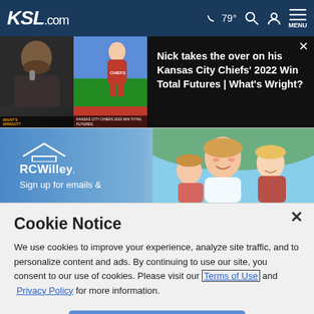KSL.com — 79° MENU
[Figure (screenshot): Video panel showing Nick takes the over on his Kansas City Chiefs' 2022 Win Total Futures | What's Wright? with thumbnail of two people and close button]
[Figure (photo): RC Willey advertisement banner showing family photo with mother and daughters, RC Willey logo and 'Sign up for emails &' text]
Cookie Notice
We use cookies to improve your experience, analyze site traffic, and to personalize content and ads. By continuing to use our site, you consent to our use of cookies. Please visit our Terms of Use and Privacy Policy for more information.
Continue